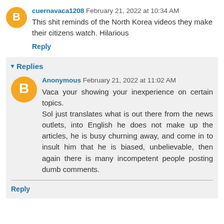cuernavaca1208  February 21, 2022 at 10:34 AM
This shit reminds of the North Korea videos they make their citizens watch. Hilarious
Reply
▾ Replies
Anonymous  February 21, 2022 at 11:02 AM
Vaca your showing your inexperience on certain topics.
Sol just translates what is out there from the news outlets, into English he does not make up the articles, he is busy churning away, and come in to insult him that he is biased, unbelievable, then again there is many incompetent people posting dumb comments.
Reply